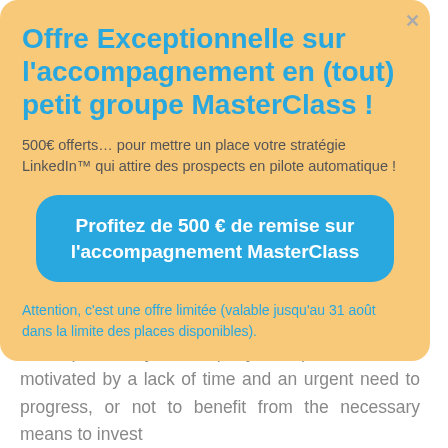Offre Exceptionnelle sur l'accompagnement en (tout) petit groupe MasterClass !
500€ offerts… pour mettre un place votre stratégie LinkedIn™ qui attire des prospects en pilote automatique !
Profitez de 500 € de remise sur l'accompagnement MasterClass
Attention, c'est une offre limitée (valable jusqu'au 31 août dans la limite des places disponibles).
company. On the contrary, it translates into collaborating with experts to ensure the commercial development of your company. This practice can be motivated by a lack of time and an urgent need to progress, or not to benefit from the necessary means to invest